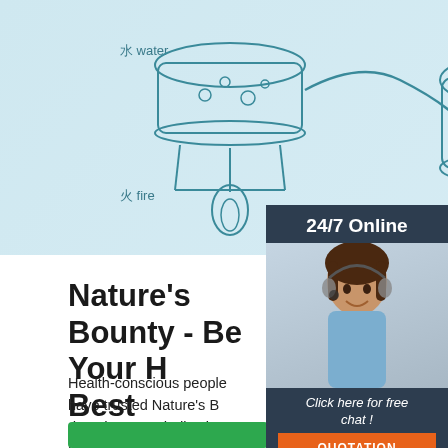[Figure (illustration): Diagram showing distillation process with labeled elements: water (水 water), fire (火 fire), and hydrosol (纯露 Hydrosol). Light blue background with line-art vessels and equipment.]
[Figure (infographic): Dark sidebar panel showing '24/7 Online', photo of a smiling woman with headset, 'Click here for free chat!' text, and an orange QUOTATION button.]
Nature's Bounty - Be Your H... Best
Health-conscious people have trusted Nature's B... decades. Our dedication to quality, consistency, a... research has resulted in vitamins and nutritional supplements of unrivaled excellence. By combining the latest breakthroughs in nutritional science with the finest ingredients, we're proud to provide you with supplements of unsurpassed quality and value.
[Figure (logo): TOP logo with orange dots arranged in a pattern above the letters TOP in orange.]